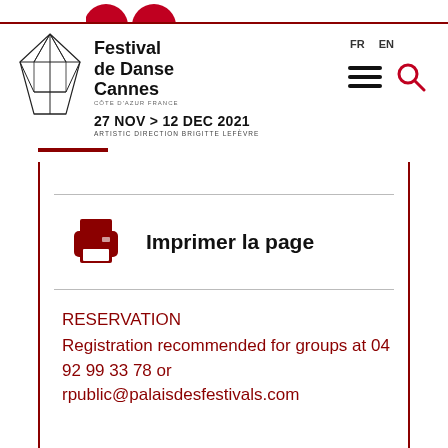[Figure (logo): Festival de Danse Cannes logo with geometric kite/diamond shape, text: Festival de Danse Cannes, 27 NOV > 12 DEC 2021, ARTISTIC DIRECTION BRIGITTE LEFÈVRE, CÔTE D'AZUR FRANCE]
FR  EN
[Figure (other): Hamburger menu icon and magnifying glass search icon in dark color]
[Figure (other): Red printer icon]
Imprimer la page
RESERVATION
Registration recommended for groups at 04 92 99 33 78 or rpublic@palaisdesfestivals.com